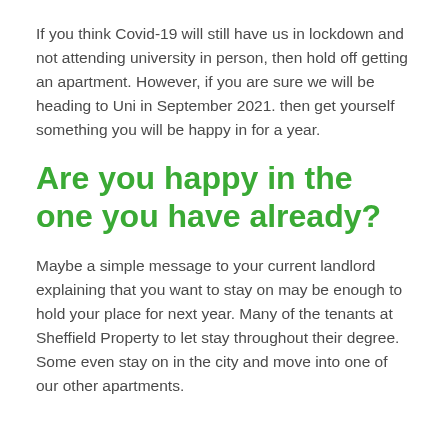If you think Covid-19 will still have us in lockdown and not attending university in person, then hold off getting an apartment. However, if you are sure we will be heading to Uni in September 2021. then get yourself something you will be happy in for a year.
Are you happy in the one you have already?
Maybe a simple message to your current landlord explaining that you want to stay on may be enough to hold your place for next year. Many of the tenants at Sheffield Property to let stay throughout their degree. Some even stay on in the city and move into one of our other apartments.